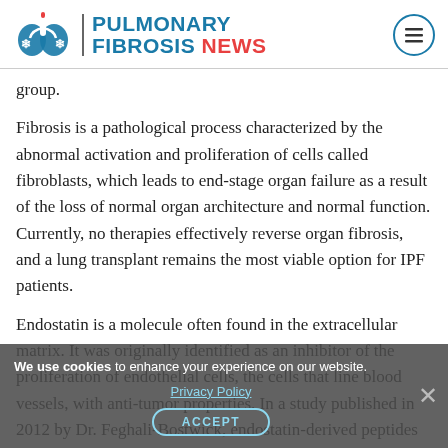PULMONARY FIBROSIS NEWS
group.
Fibrosis is a pathological process characterized by the abnormal activation and proliferation of cells called fibroblasts, which leads to end-stage organ failure as a result of the loss of normal organ architecture and normal function. Currently, no therapies effectively reverse organ fibrosis, and a lung transplant remains the most viable option for IPF patients.
Endostatin is a molecule often found in the extracellular matrix. It was originally identified as an inhibitor of the proliferation of endothelial cells, the cells that line blood vessels, with anti-tumor properties. In a study published in 2012 by Dr. Feghali-Bostwick, endostatin-derived peptides were found to be effective in inhibiting and reversing
We use cookies to enhance your experience on our website. Privacy Policy ACCEPT